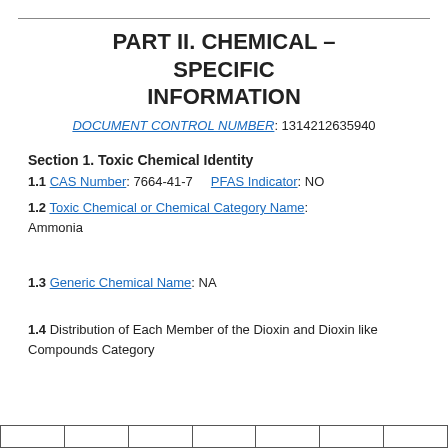PART II. CHEMICAL – SPECIFIC INFORMATION
DOCUMENT CONTROL NUMBER: 1314212635940
Section 1. Toxic Chemical Identity
1.1 CAS Number: 7664-41-7    PFAS Indicator: NO
1.2 Toxic Chemical or Chemical Category Name: Ammonia
1.3 Generic Chemical Name: NA
1.4 Distribution of Each Member of the Dioxin and Dioxin like Compounds Category
|  |  |  |  |  |  |  |